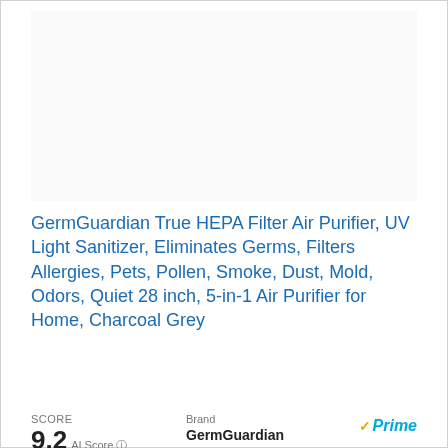[Figure (photo): Product image placeholder area (white/light background)]
GermGuardian True HEPA Filter Air Purifier, UV Light Sanitizer, Eliminates Germs, Filters Allergies, Pets, Pollen, Smoke, Dust, Mold, Odors, Quiet 28 inch, 5-in-1 Air Purifier for Home, Charcoal Grey
View on Amazon
SCORE
9.2 AI Score
Brand GermGuardian
Prime